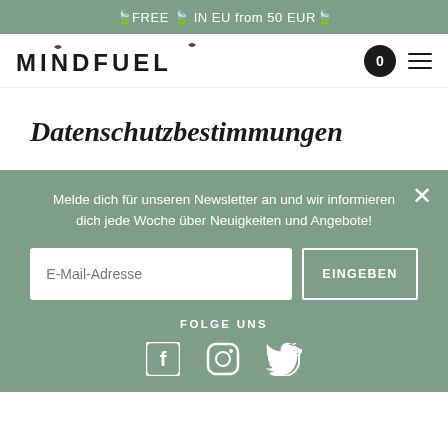🍃FREE 🍃 IN EU from 50 EUR🍃
[Figure (logo): MINDFUEL logo in bold uppercase letters with decorative plant/leaf elements]
Datenschutzbestimmungen
Melde dich für unseren Newsletter an und wir informieren dich jede Woche über Neuigkeiten und Angebote!
E-Mail-Adresse
EINGEBEN
FOLGE UNS
[Figure (illustration): Social media icons: Facebook, Instagram, Twitter in white on sage green background]